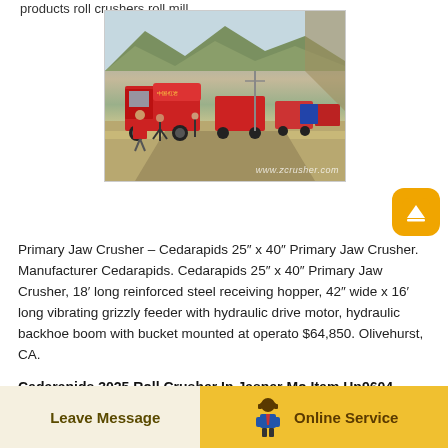products roll crushers roll mill.
[Figure (photo): A line of red heavy trucks on a mountain road with hills in the background. Watermark: www.zcrusher.com]
Primary Jaw Crusher – Cedarapids 25″ x 40″ Primary Jaw Crusher. Manufacturer Cedarapids. Cedarapids 25″ x 40″ Primary Jaw Crusher, 18′ long reinforced steel receiving hopper, 42″ wide x 16′ long vibrating grizzly feeder with hydraulic drive motor, hydraulic backhoe boom with bucket mounted at operato $64,850. Olivehurst, CA.
Cedarapids 3025 Roll Crusher In Jasper Mo Item Hp9604
Leave Message   Online Service